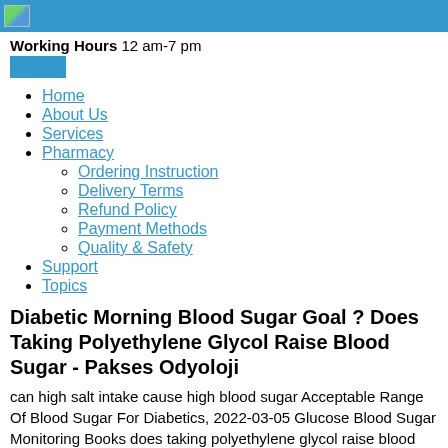[Figure (other): Blue header bar with small landscape image icon on the left]
Working Hours 12 am-7 pm
Home
About Us
Services
Pharmacy
Ordering Instruction
Delivery Terms
Refund Policy
Payment Methods
Quality & Safety
Support
Topics
Diabetic Morning Blood Sugar Goal ? Does Taking Polyethylene Glycol Raise Blood Sugar - Pakses Odyoloji
can high salt intake cause high blood sugar Acceptable Range Of Blood Sugar For Diabetics, 2022-03-05 Glucose Blood Sugar Monitoring Books does taking polyethylene glycol raise blood sugar Avoid Low Blood Sugar.